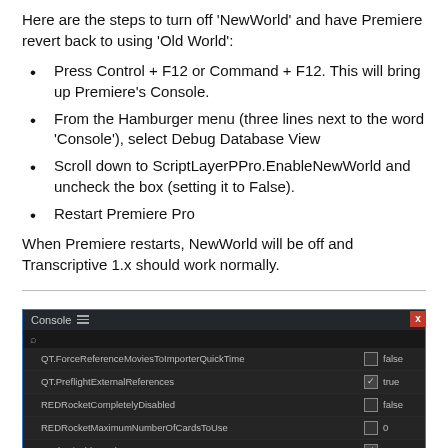Here are the steps to turn off 'NewWorld' and have Premiere revert back to using 'Old World':
Press Control + F12 or Command + F12. This will bring up Premiere's Console.
From the Hamburger menu (three lines next to the word 'Console'), select Debug Database View
Scroll down to ScriptLayerPPro.EnableNewWorld and uncheck the box (setting it to False).
Restart Premiere Pro
When Premiere restarts, NewWorld will be off and Transcriptive 1.x should work normally.
[Figure (screenshot): Adobe Premiere Pro Console Debug Database View showing entries: QT.ForceReferenceMoviesToImporterQuickTime (false), QT.PreflightExternalReferences (true, checked), REDRocketCompletelyDisabled (false), REDRocketMaximumNumberOfCardsToUse (0), Rush.DisableWorkspaces (true, checked)]